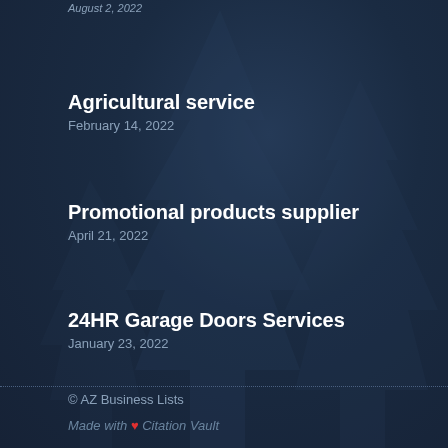August 2, 2022
Agricultural service
February 14, 2022
Promotional products supplier
April 21, 2022
24HR Garage Doors Services
January 23, 2022
© AZ Business Lists
Made with ❤ Citation Vault